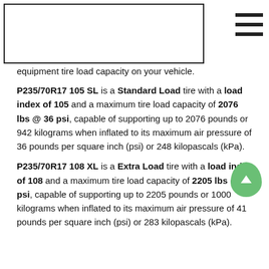equipment tire load capacity on your vehicle.
P235/70R17 105 SL is a Standard Load tire with a load index of 105 and a maximum tire load capacity of 2076 lbs @ 36 psi, capable of supporting up to 2076 pounds or 942 kilograms when inflated to its maximum air pressure of 36 pounds per square inch (psi) or 248 kilopascals (kPa).
P235/70R17 108 XL is a Extra Load tire with a load index of 108 and a maximum tire load capacity of 2205 lbs @ 41 psi, capable of supporting up to 2205 pounds or 1000 kilograms when inflated to its maximum air pressure of 41 pounds per square inch (psi) or 283 kilopascals (kPa).